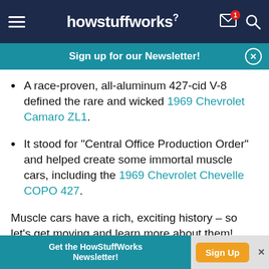howstuffworks
Sign up for our Newsletter!
A race-proven, all-aluminum 427-cid V-8 defined the rare and wicked 1969 Chevrolet Camaro ZL1.
It stood for "Central Office Production Order" and helped create some immortal muscle cars, including the 1969 Chevrolet Chevelle COPO 427.
Muscle cars have a rich, exciting history – so let's get moving and learn more about them!
Get the HowStuffWorks Newsletter! Sign Up